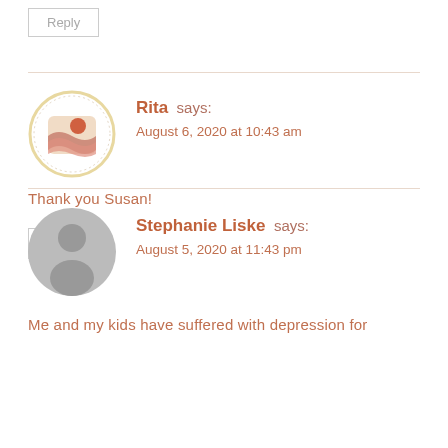Reply
Rita says:
August 6, 2020 at 10:43 am
Thank you Susan!
Reply
Stephanie Liske says:
August 5, 2020 at 11:43 pm
Me and my kids have suffered with depression for